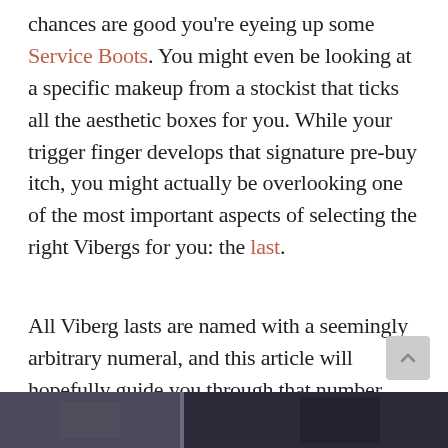chances are good you're eyeing up some Service Boots. You might even be looking at a specific makeup from a stockist that ticks all the aesthetic boxes for you. While your trigger finger develops that signature pre-buy itch, you might actually be overlooking one of the most important aspects of selecting the right Vibergs for you: the last.
All Viberg lasts are named with a seemingly arbitrary numeral, and this article will hopefully guide you through that number soup of Viberg lasts.
[Figure (photo): Bottom strip showing a partial photograph, appears to show people or boots, dark toned image]